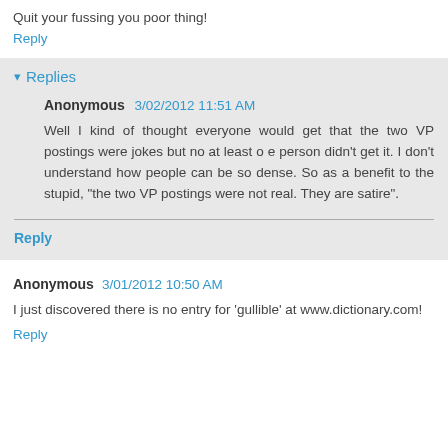Quit your fussing you poor thing!
Reply
▾ Replies
Anonymous 3/02/2012 11:51 AM
Well I kind of thought everyone would get that the two VP postings were jokes but no at least o e person didn't get it. I don't understand how people can be so dense. So as a benefit to the stupid, "the two VP postings were not real. They are satire".
Reply
Anonymous 3/01/2012 10:50 AM
I just discovered there is no entry for 'gullible' at www.dictionary.com!
Reply